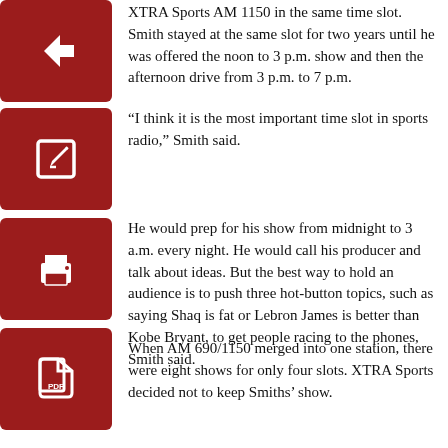XTRA Sports AM 1150 in the same time slot. Smith stayed at the same slot for two years until he was offered the noon to 3 p.m. show and then the afternoon drive from 3 p.m. to 7 p.m.
[Figure (illustration): Red square button with white left-arrow icon]
“I think it is the most important time slot in sports radio,” Smith said.
[Figure (illustration): Red square button with white edit/pencil icon]
He would prep for his show from midnight to 3 a.m. every night. He would call his producer and talk about ideas. But the best way to hold an audience is to push three hot-button topics, such as saying Shaq is fat or Lebron James is better than Kobe Bryant, to get people racing to the phones, Smith said.
[Figure (illustration): Red square button with white printer icon]
[Figure (illustration): Red square button with white PDF/document icon]
When AM 690/1150 merged into one station, there were eight shows for only four slots. XTRA Sports decided not to keep Smiths’ show.
“They brought me into the office and said there was something offensive on my website that one of my writers wrote,” Smith said. “They said we could not be associated with this since you represent the station. But I found out later from other employees that the decision was made long before the merge. The website was an excuse.”
Smith later heard from an XTRA Sports 570 employee that people knew he was going to be laid off six months before the merger.